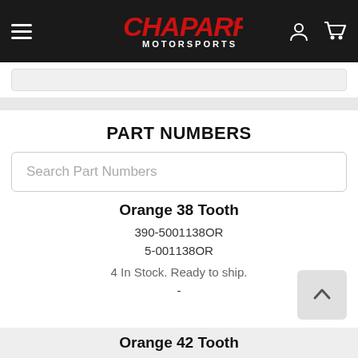Chaparral Motorsports
PART NUMBERS
Search Part Numbers
Orange 38 Tooth
390-5001138OR
5-001138OR
4 In Stock. Ready to ship.
-
Orange 42 Tooth